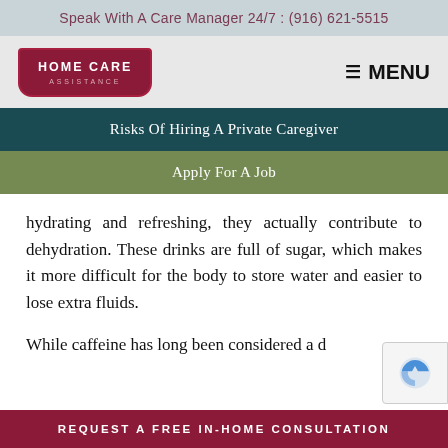Speak With A Care Manager 24/7 : (916) 621-5515
[Figure (logo): Home Care Assistance logo — dark red badge shape with white text]
Risks Of Hiring A Private Caregiver
Apply For A Job
hydrating and refreshing, they actually contribute to dehydration. These drinks are full of sugar, which makes it more difficult for the body to store water and easier to lose extra fluids.
While caffeine has long been considered a d
REQUEST A FREE IN-HOME CONSULTATION